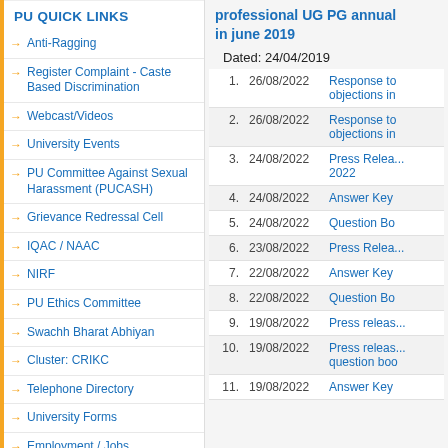PU QUICK LINKS
Anti-Ragging
Register Complaint - Caste Based Discrimination
Webcast/Videos
University Events
PU Committee Against Sexual Harassment (PUCASH)
Grievance Redressal Cell
IQAC / NAAC
NIRF
PU Ethics Committee
Swachh Bharat Abhiyan
Cluster: CRIKC
Telephone Directory
University Forms
Employment / Jobs
Right to Information
Alumni
Tenders
professional UG PG annual in june 2019
Dated: 24/04/2019
| No. | Date | Description |
| --- | --- | --- |
| 1. | 26/08/2022 | Response to objections in |
| 2. | 26/08/2022 | Response to objections in |
| 3. | 24/08/2022 | Press Relea... 2022 |
| 4. | 24/08/2022 | Answer Key |
| 5. | 24/08/2022 | Question Bo |
| 6. | 23/08/2022 | Press Relea... |
| 7. | 22/08/2022 | Answer Key |
| 8. | 22/08/2022 | Question Bo |
| 9. | 19/08/2022 | Press releas... |
| 10. | 19/08/2022 | Press releas... question boo |
| 11. | 19/08/2022 | Answer Key |